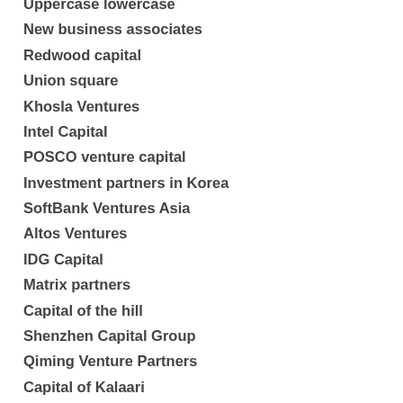Uppercase lowercase
New business associates
Redwood capital
Union square
Khosla Ventures
Intel Capital
POSCO venture capital
Investment partners in Korea
SoftBank Ventures Asia
Altos Ventures
IDG Capital
Matrix partners
Capital of the hill
Shenzhen Capital Group
Qiming Venture Partners
Capital of Kalaari
Eastern companies
Growth capital in China
Nexus Venture Partners